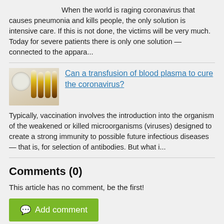When the world is raging coronavirus that causes pneumonia and kills people, the only solution is intensive care. If this is not done, the victims will be very much. Today for severe patients there is only one solution — connected to the appara...
[Figure (photo): Thumbnail image of blood plasma vials/test tubes with yellow/amber colored liquid]
Can a transfusion of blood plasma to cure the coronavirus?
Typically, vaccination involves the introduction into the organism of the weakened or killed microorganisms (viruses) designed to create a strong immunity to possible future infectious diseases — that is, for selection of antibodies. But what i...
Comments (0)
This article has no comment, be the first!
Add comment